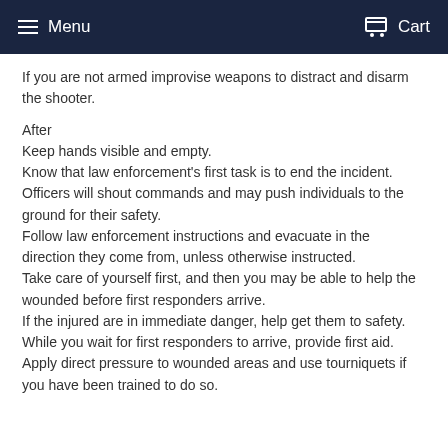Menu   Cart
If you are not armed improvise weapons to distract and disarm the shooter.
After
Keep hands visible and empty.
Know that law enforcement's first task is to end the incident.
Officers will shout commands and may push individuals to the ground for their safety.
Follow law enforcement instructions and evacuate in the direction they come from, unless otherwise instructed.
Take care of yourself first, and then you may be able to help the wounded before first responders arrive.
If the injured are in immediate danger, help get them to safety.
While you wait for first responders to arrive, provide first aid.
Apply direct pressure to wounded areas and use tourniquets if you have been trained to do so.